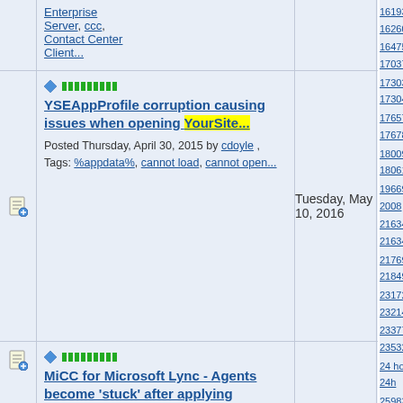Enterprise Server, ccc, Contact Center Client...
YSEAppProfile corruption causing issues when opening YourSite... Posted Thursday, April 30, 2015 by cdoyle , Tags: %appdata%, cannot load, cannot open...
Tuesday, May 10, 2016
MiCC for Microsoft Lync - Agents become 'stuck' after applying
161936  162606  164757  170373  173034  173041  176574  176785  180093  180616  196695  2008  2011  216341  216343  217692  218492  231722  232143  233779  235326  24 hours  24h  2534  259838  259840  273304  273338  309231  319188  32 bit  320611  320